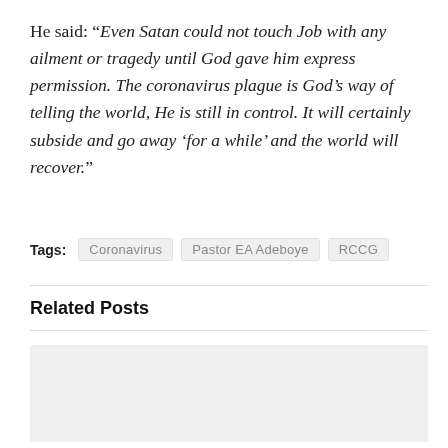He said: “Even Satan could not touch Job with any ailment or tragedy until God gave him express permission. The coronavirus plague is God’s way of telling the world, He is still in control. It will certainly subside and go away ‘for a while’ and the world will recover.”
Tags: Coronavirus  Pastor EA Adeboye  RCCG
Related Posts
[Figure (photo): Light gray placeholder image for a related post thumbnail]